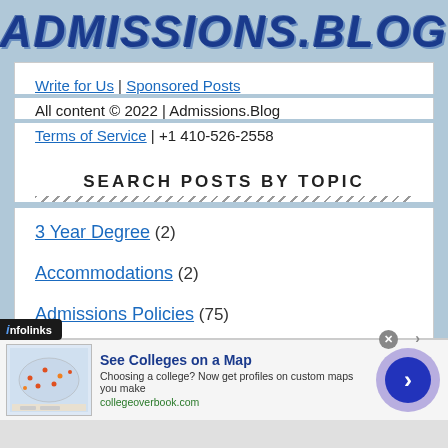ADMISSIONS.BLOG
Write for Us | Sponsored Posts
All content © 2022 | Admissions.Blog
Terms of Service | +1 410-526-2558
SEARCH POSTS BY TOPIC
3 Year Degree (2)
Accommodations (2)
Admissions Policies (75)
[Figure (infographic): Advertisement banner: See Colleges on a Map — Choosing a college? Now get profiles on custom maps you make. collegeoverbook.com]